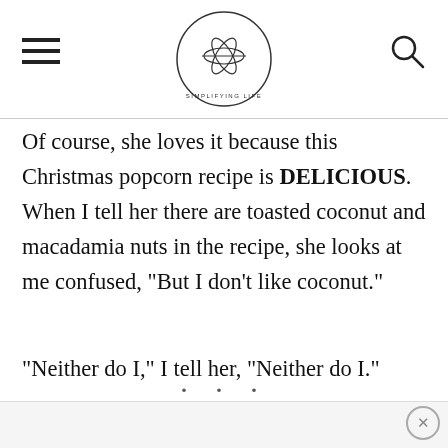Simplifying Life [logo with hamburger menu and search icon]
Of course, she loves it because this Christmas popcorn recipe is DELICIOUS. When I tell her there are toasted coconut and macadamia nuts in the recipe, she looks at me confused, "But I don't like coconut."
"Neither do I," I tell her, "Neither do I."
...